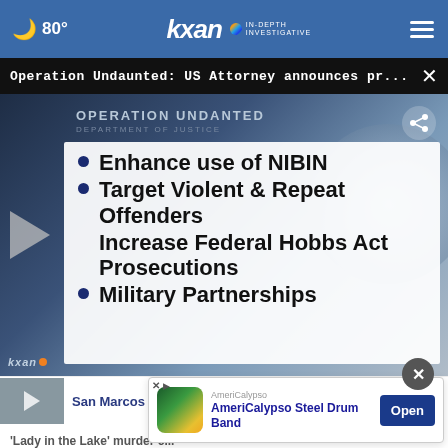80° kxan IN-DEPTH INVESTIGATIVE
Operation Undaunted: US Attorney announces pr...
[Figure (screenshot): Video screenshot showing Operation Undanted Department of Justice slide with bullet points: Enhance use of NIBIN, Target Violent & Repeat Offenders, Increase Federal Hobbs Act Prosecutions, Military Partnerships. KXAN logo watermark visible. Play button overlay.]
San Marcos High football tea...
AmeriCalypso
AmeriCalypso Steel Drum Band
Open
'Lady in the Lake' murder c...